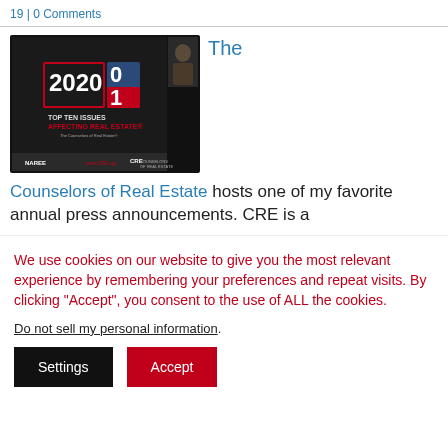19 | 0 Comments
[Figure (screenshot): Screenshot of a video/webinar showing '2021 Top Ten Issues Affecting Real Estate' presentation slide with NAREE and CRE logos, and a webcam view of a person in the top right corner.]
The Counselors of Real Estate hosts one of my favorite annual press announcements. CRE is a
We use cookies on our website to give you the most relevant experience by remembering your preferences and repeat visits. By clicking “Accept”, you consent to the use of ALL the cookies.
Do not sell my personal information.
Settings
Accept